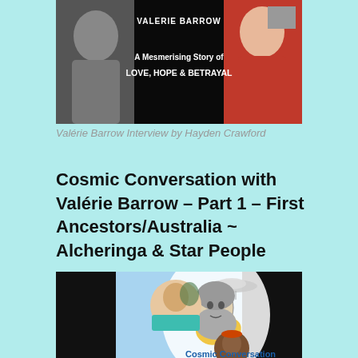[Figure (photo): Book or video thumbnail showing two people flanking the text 'VALERIE BARROW' and subtitle 'A Mesmerising Story of LOVE, HOPE & BETRAYAL' on a black background]
Valérie Barrow Interview by Hayden Crawford
Cosmic Conversation with Valérie Barrow – Part 1 – First Ancestors/Australia ~ Alcheringa & Star People
[Figure (photo): Promotional image for Cosmic Conversation featuring a circular portrait of a woman (Valérie Barrow), a drawing of an Aboriginal elder inside an oval, a UFO/flying saucer above, Australia map shape in yellow, and a circular portrait of an Aboriginal man at the bottom right. Text reads 'Cosmic Conversation' at the bottom.]